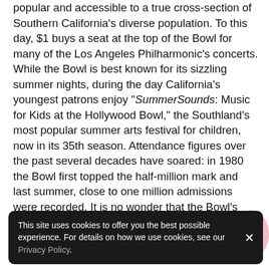popular and accessible to a true cross-section of Southern California's diverse population. To this day, $1 buys a seat at the top of the Bowl for many of the Los Angeles Philharmonic's concerts. While the Bowl is best known for its sizzling summer nights, during the day California's youngest patrons enjoy "SummerSounds: Music for Kids at the Hollywood Bowl," the Southland's most popular summer arts festival for children, now in its 35th season. Attendance figures over the past several decades have soared: in 1980 the Bowl first topped the half-million mark and last summer, close to one million admissions were recorded. It is no wonder that the Bowl's summer music festivals have become as much a part of a Southern California summer as beaches and barbecues, the Dodgers and Disneyland.
This site uses cookies to offer you the best possible experience. For details on how we use cookies, see our Privacy Policy.